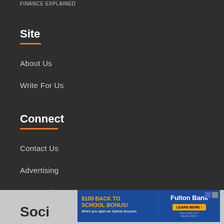FINANCE EXPLAINED
Site
About Us
Write For Us
Connect
Contact Us
Advertising
Press Releases
[Figure (screenshot): Advertisement banner for Fulton Bank: '$100 BACK TO SCHOOL BONUS! When you open an Xpress Account.' with a 'LEARN MORE' button. Partial 'Soci' text visible at bottom left.]